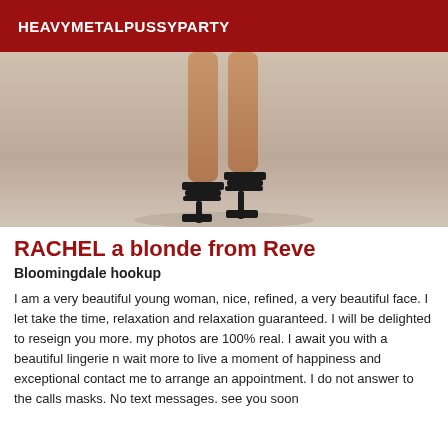HEAVYMETALPUSSYPARTY
[Figure (photo): Photo of a woman's legs from the knees down, wearing black strappy high-heel sandals, standing on a light gray/beige surface]
RACHEL a blonde from Reve
Bloomingdale hookup
I am a very beautiful young woman, nice, refined, a very beautiful face. I let take the time, relaxation and relaxation guaranteed. I will be delighted to reseign you more. my photos are 100% real. I await you with a beautiful lingerie n wait more to live a moment of happiness and exceptional contact me to arrange an appointment. I do not answer to the calls masks. No text messages. see you soon